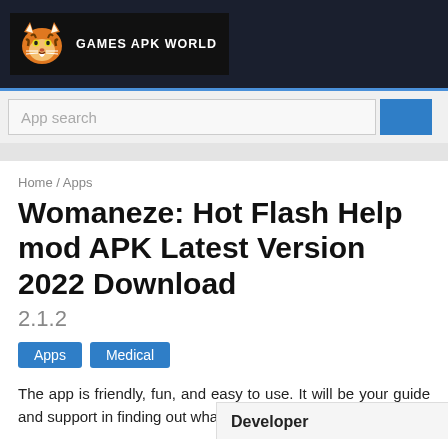GAMES APK WORLD
App search
Home / Apps
Womaneze: Hot Flash Help mod APK Latest Version 2022 Download
2.1.2
Apps
Medical
The app is friendly, fun, and easy to use. It will be your guide and support in finding out what
Developer